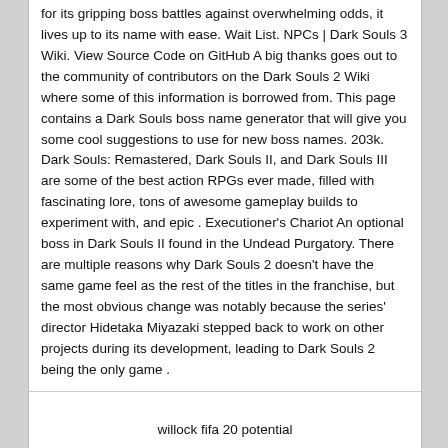for its gripping boss battles against overwhelming odds, it lives up to its name with ease. Wait List. NPCs | Dark Souls 3 Wiki. View Source Code on GitHub A big thanks goes out to the community of contributors on the Dark Souls 2 Wiki where some of this information is borrowed from. This page contains a Dark Souls boss name generator that will give you some cool suggestions to use for new boss names. 203k. Dark Souls: Remastered, Dark Souls II, and Dark Souls III are some of the best action RPGs ever made, filled with fascinating lore, tons of awesome gameplay builds to experiment with, and epic . Executioner's Chariot An optional boss in Dark Souls II found in the Undead Purgatory. There are multiple reasons why Dark Souls 2 doesn't have the same game feel as the rest of the titles in the franchise, but the most obvious change was notably because the series' director Hidetaka Miyazaki stepped back to work on other projects during its development, leading to Dark Souls 2 being the only game .
willock fifa 20 potential